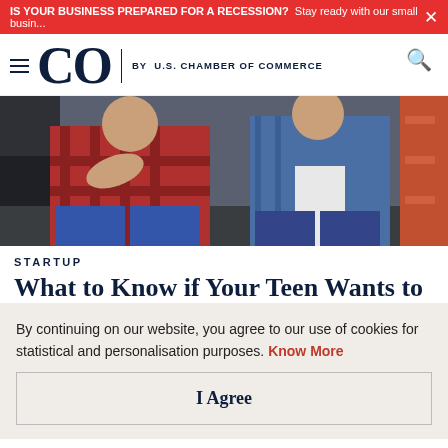IS YOUR BUSINESS PREPARED FOR A RECESSION? Stay ready with our small busin...
[Figure (logo): CO by U.S. Chamber of Commerce logo with hamburger menu and search icon]
[Figure (photo): Two people in a workshop setting, one in a red plaid shirt and one in a denim shirt]
STARTUP
What to Know if Your Teen Wants to
By continuing on our website, you agree to our use of cookies for statistical and personalisation purposes. Know More
I Agree